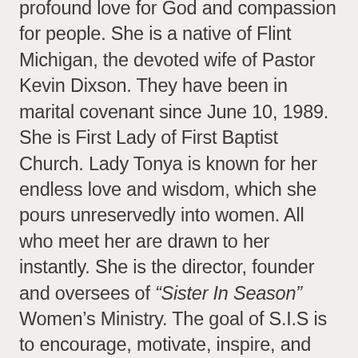profound love for God and compassion for people. She is a native of Flint Michigan, the devoted wife of Pastor Kevin Dixson. They have been in marital covenant since June 10, 1989. She is First Lady of First Baptist Church. Lady Tonya is known for her endless love and wisdom, which she pours unreservedly into women. All who meet her are drawn to her instantly. She is the director, founder and oversees of “Sister In Season” Women’s Ministry. The goal of S.I.S is to encourage, motivate, inspire, and most importantly, empower women of God with the word of God.
Under the anointing of the Holy Spirit, God is using Lady Tonya to aid in strengthening and supporting women. Wanting to see them encouraged and empowered. She has a desire to see women challenged and changed, to see every woman fulfill their God given destiny primarily to become women of virtue. Lady Tonya holds a degree in Medical Business